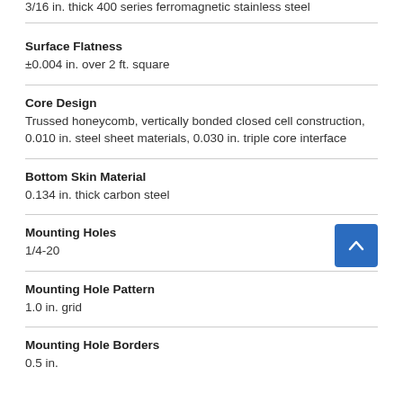3/16 in. thick 400 series ferromagnetic stainless steel
Surface Flatness
±0.004 in. over 2 ft. square
Core Design
Trussed honeycomb, vertically bonded closed cell construction, 0.010 in. steel sheet materials, 0.030 in. triple core interface
Bottom Skin Material
0.134 in. thick carbon steel
Mounting Holes
1/4-20
Mounting Hole Pattern
1.0 in. grid
Mounting Hole Borders
0.5 in.